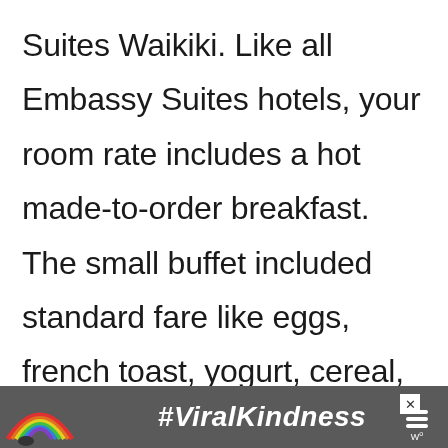Suites Waikiki. Like all Embassy Suites hotels, your room rate includes a hot made-to-order breakfast. The small buffet included standard fare like eggs, french toast, yogurt, cereal, fruit, and pastries, but the big draw is the made-to-order omelets. You can choose your fixings, such as
[Figure (infographic): Advertisement banner at the bottom of the page showing a rainbow illustration on the left, the hashtag #ViralKindness in bold white italic text in the center, an X close button in the upper right, and a sound/media icon on the right side, all on a dark gray background.]